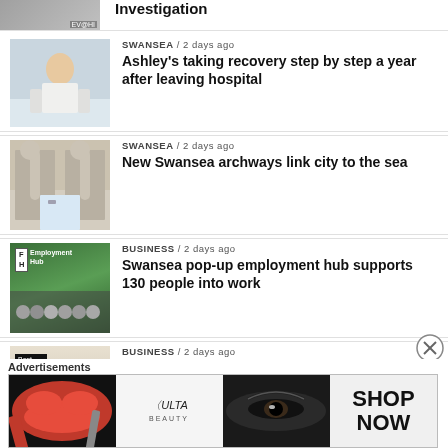[Figure (photo): Top partial news item thumbnail - person photo, partially visible]
Investigation
[Figure (photo): Person in hospital gown walking with crutches in a corridor]
SWANSEA / 2 days ago
Ashley's taking recovery step by step a year after leaving hospital
[Figure (photo): Archway structure with view through to the sea/open area, people walking]
SWANSEA / 2 days ago
New Swansea archways link city to the sea
[Figure (photo): Employment Hub building exterior with group of people standing in front, green signage]
BUSINESS / 2 days ago
Swansea pop-up employment hub supports 130 people into work
[Figure (photo): Best Western hotel/pub building exterior with sign]
BUSINESS / 2 days ago
New plans to convert last pub in village into house – 16 months after planners rejected
Advertisements
[Figure (photo): ULTA beauty advertisement banner showing makeup, lips, eyes and SHOP NOW text]